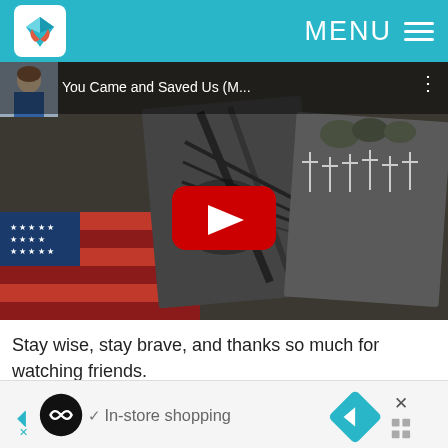MENU
[Figure (screenshot): YouTube video thumbnail titled 'You Came and Saved Us (M...' showing black and white war photos, an American flag, and a military cemetery with crosses, with a YouTube play button overlay]
Stay wise, stay brave, and thanks so much for watching friends.
Note: Author Chris Cleave was my guest in Genealogy Gems Premium Podcast episode 139. Premium Members can click here to listen now.
[Figure (screenshot): Advertisement banner showing navigation arrows, a circular logo, checkmark, 'In-store shopping' text, a blue navigation diamond icon, and an X close button]